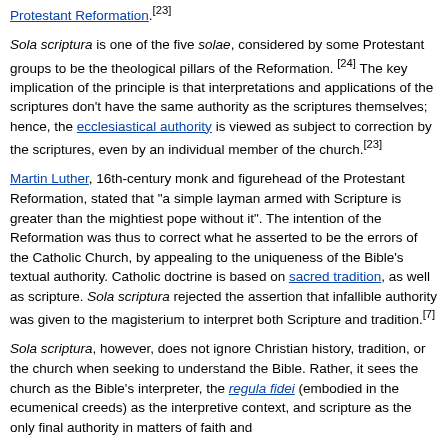Protestant Reformation.[23]
Sola scriptura is one of the five solae, considered by some Protestant groups to be the theological pillars of the Reformation.[24] The key implication of the principle is that interpretations and applications of the scriptures don't have the same authority as the scriptures themselves; hence, the ecclesiastical authority is viewed as subject to correction by the scriptures, even by an individual member of the church.[23]
Martin Luther, 16th-century monk and figurehead of the Protestant Reformation, stated that "a simple layman armed with Scripture is greater than the mightiest pope without it". The intention of the Reformation was thus to correct what he asserted to be the errors of the Catholic Church, by appealing to the uniqueness of the Bible's textual authority. Catholic doctrine is based on sacred tradition, as well as scripture. Sola scriptura rejected the assertion that infallible authority was given to the magisterium to interpret both Scripture and tradition.[7]
Sola scriptura, however, does not ignore Christian history, tradition, or the church when seeking to understand the Bible. Rather, it sees the church as the Bible's interpreter, the regula fidei (embodied in the ecumenical creeds) as the interpretive context, and scripture as the only final authority in matters of faith and